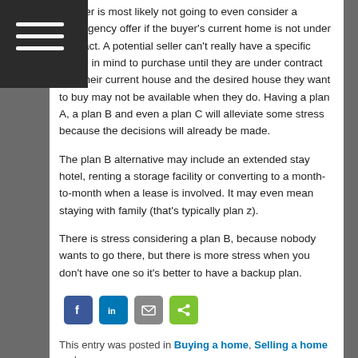A seller is most likely not going to even consider a contingency offer if the buyer's current home is not under contract. A potential seller can't really have a specific house in mind to purchase until they are under contract with their current house and the desired house they want to buy may not be available when they do. Having a plan A, a plan B and even a plan C will alleviate some stress because the decisions will already be made.
The plan B alternative may include an extended stay hotel, renting a storage facility or converting to a month-to-month when a lease is involved. It may even mean staying with family (that's typically plan z).
There is stress considering a plan B, because nobody wants to go there, but there is more stress when you don't have one so it's better to have a backup plan.
[Figure (other): Social sharing icons: Facebook (blue), LinkedIn (blue), Email (gray), Share (green)]
This entry was posted in Buying a home, Selling a home and